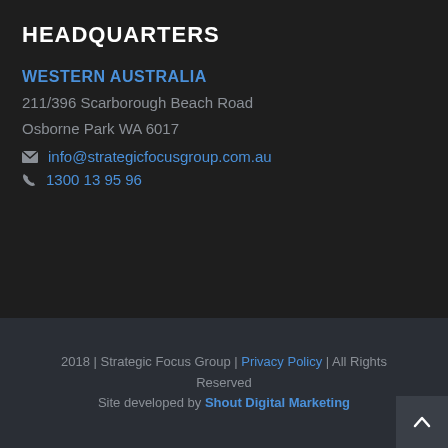HEADQUARTERS
WESTERN AUSTRALIA
211/396 Scarborough Beach Road
Osborne Park WA 6017
info@strategicfocusgroup.com.au
1300 13 95 96
2018 | Strategic Focus Group | Privacy Policy | All Rights Reserved
Site developed by Shout Digital Marketing